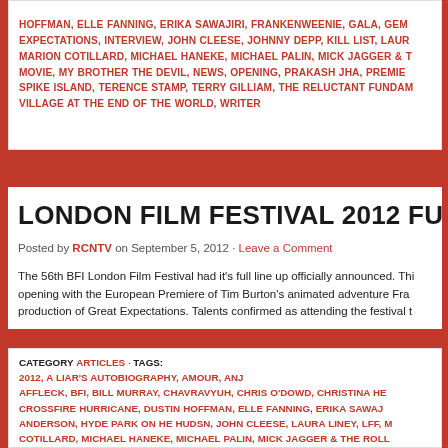HOFFMAN, ELLE FANNING, ERIKA SAWAJIRI, FRANKENWEENIE, GALA, GEM... EXPECTATIONS, INTERVIEW, JOHN CLEESE, JOHNNY DEPP, KILL LIST, LAUR... MARION COTILLARD, MICHAEL HANEKE, MICHAEL PALIN, MICK JAGGER & T... MOVIE, MY BROTHER THE DEVIL, NEWS, OPENING, PRAKASH JHA, PREMIE... SPIKE ISLAND, TERENCE STAMP, TERRY GILLIAM, THE RELUCTANT FUNDAM... VILLAGE AT THE END OF THE WORLD, WRITER
LONDON FILM FESTIVAL 2012 FULL LINE U...
Posted by RCNTV on September 5, 2012 · Leave a Comment
The 56th BFI London Film Festival had it's full line up officially announced. Thi... opening with the European Premiere of Tim Burton's animated adventure Fra... production of Great Expectations. Talents confirmed as attending the festival t...
CATEGORY ARTICLES · TAGS: 2012, A LIAR'S AUTOBIOGRAPHY, AMOUR, ANJ... AFFLECK, BFI, BILL MURRAY, CHAVRAVYUH, CHRIS O'DOWD, CHRISTINA HE... CROSSFIRE HURRICANE, DUSTIN HOFFMAN, ELLE FANNING, ERIKA SAWAJ... ANDERSON, HYDE PARK ON HE HUDSN, JOHN CLEESE, LAURA LINEY, LFF, ... COTILLARD, MICHAEL HANEKE, MICHAEL PALIN, MICK JAGGER & THE ROLL... SLASH, SON FOR MARION, TERENCE STAMP, TERRY GILLIAM, THE QUARTE... SAPPHIRES, THE SESSIONS, TIM ROTH, VANESSA REDGRAVE